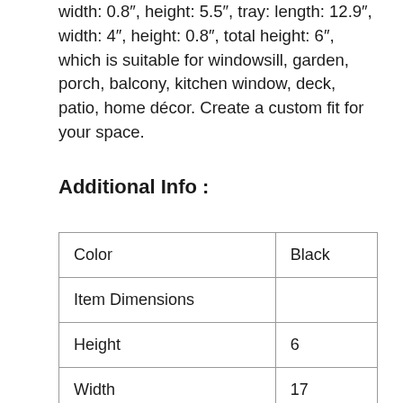width: 0.8", height: 5.5", tray: length: 12.9", width: 4", height: 0.8", total height: 6", which is suitable for windowsill, garden, porch, balcony, kitchen window, deck, patio, home décor. Create a custom fit for your space.
Additional Info :
| Color | Black |
| Item Dimensions |  |
| Height | 6 |
| Width | 17 |